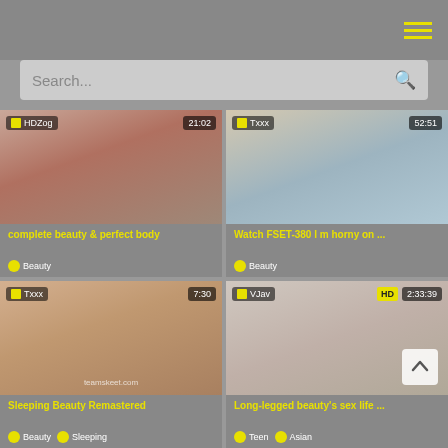Menu / Hamburger icon (navigation)
Search...
[Figure (screenshot): Video thumbnail - adult content, HDZog source, duration 21:02]
complete beauty & perfect body
Beauty
[Figure (screenshot): Video thumbnail - adult content, Txxx source, duration 52:51]
Watch FSET-380 l m horny on ...
Beauty
[Figure (screenshot): Video thumbnail - girl sleeping, Txxx source, duration 7:30]
Sleeping Beauty Remastered
Beauty  Sleeping
[Figure (screenshot): Video thumbnail - adult content, VJav source, HD badge, duration 2:33:39]
Long-legged beauty's sex life ...
Teen  Asian